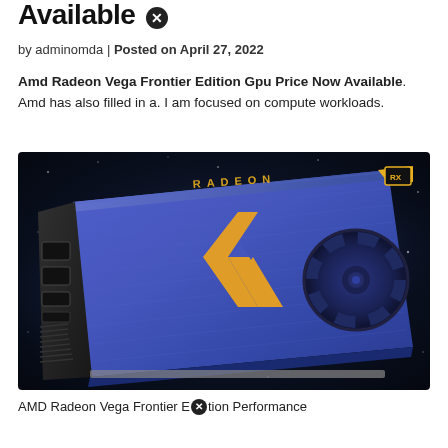Available ✕
by adminomda | Posted on April 27, 2022
Amd Radeon Vega Frontier Edition Gpu Price Now Available. Amd has also filled in a. I am focused on compute workloads.
[Figure (photo): AMD Radeon Vega Frontier Edition GPU — blue aluminum card with gold Vega logo and single blower fan, on dark space background]
AMD Radeon Vega Frontier Edition Performance